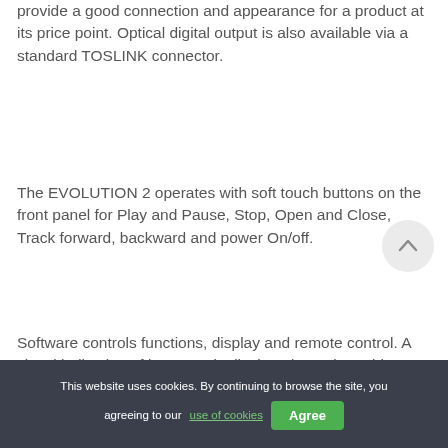provide a good connection and appearance for a product at its price point. Optical digital output is also available via a standard TOSLINK connector.
The EVOLUTION 2 operates with soft touch buttons on the front panel for Play and Pause, Stop, Open and Close, Track forward, backward and power On/off.
Software controls functions, display and remote control. A visual indication of its status is displayed on a large blue Vacuum Fluorescent Display (VFD)
This website uses cookies. By continuing to browse the site, you agreeing to our use of cookies
Agree